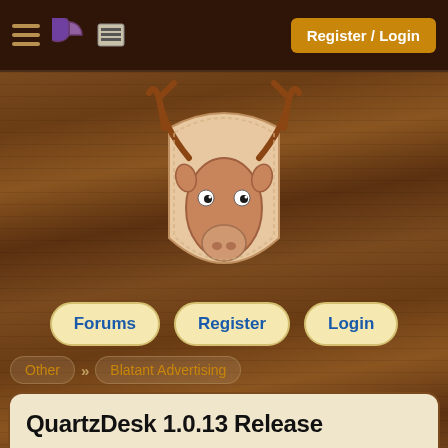Register / Login
[Figure (illustration): Moose head cartoon logo mounted on a shield/plaque, drawn in a sketchy style with brown tones]
Forums   Register   Login
Other » Blatant Advertising
QuartzDesk 1.0.13 Release
Jan Moravec , Greenhorn
Jul 11, 2013 12:20:19
+Pie
reply